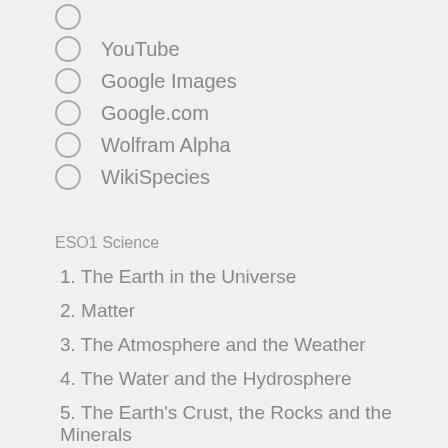YouTube
Google Images
Google.com
Wolfram Alpha
WikiSpecies
ESO1 Science
1. The Earth in the Universe
2. Matter
3. The Atmosphere and the Weather
4. The Water and the Hydrosphere
5. The Earth's Crust, the Rocks and the Minerals
6. Organization of Living Matter